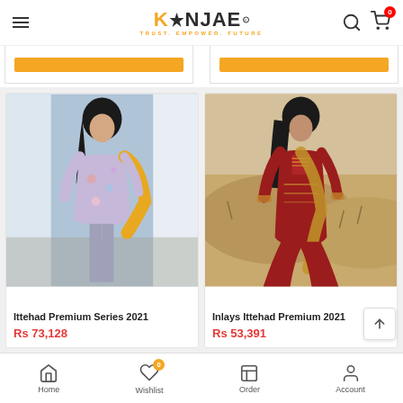KONJAE — TRUST. EMPOWER. FUTURE.
[Figure (photo): Woman wearing lavender floral Pakistani dress with yellow dupatta, posed in front of blue/white background]
Ittehad Premium Series 2021
Rs 73,128
[Figure (photo): Woman wearing deep red embroidered Pakistani dress with golden dupatta, posed in desert landscape]
Inlays Ittehad Premium 2021
Rs 53,391
Home  Wishlist 0  Order  Account